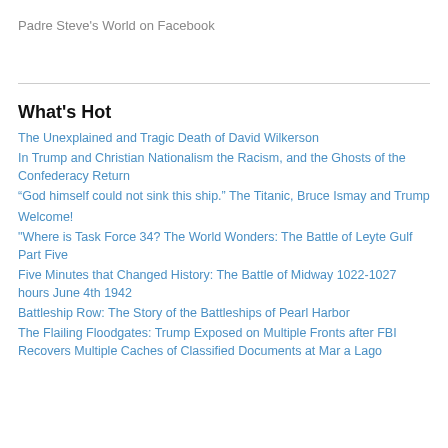Padre Steve's World on Facebook
What's Hot
The Unexplained and Tragic Death of David Wilkerson
In Trump and Christian Nationalism the Racism, and the Ghosts of the Confederacy Return
“God himself could not sink this ship.” The Titanic, Bruce Ismay and Trump
Welcome!
"Where is Task Force 34? The World Wonders: The Battle of Leyte Gulf Part Five
Five Minutes that Changed History: The Battle of Midway 1022-1027 hours June 4th 1942
Battleship Row: The Story of the Battleships of Pearl Harbor
The Flailing Floodgates: Trump Exposed on Multiple Fronts after FBI Recovers Multiple Caches of Classified Documents at Mar a Lago